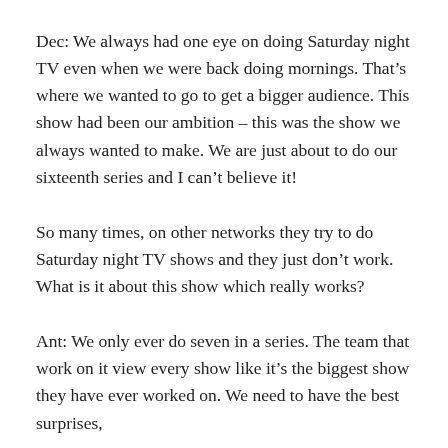Dec: We always had one eye on doing Saturday night TV even when we were back doing mornings. That’s where we wanted to go to get a bigger audience. This show had been our ambition – this was the show we always wanted to make. We are just about to do our sixteenth series and I can’t believe it!
So many times, on other networks they try to do Saturday night TV shows and they just don’t work. What is it about this show which really works?
Ant: We only ever do seven in a series. The team that work on it view every show like it’s the biggest show they have ever worked on. We need to have the best surprises,